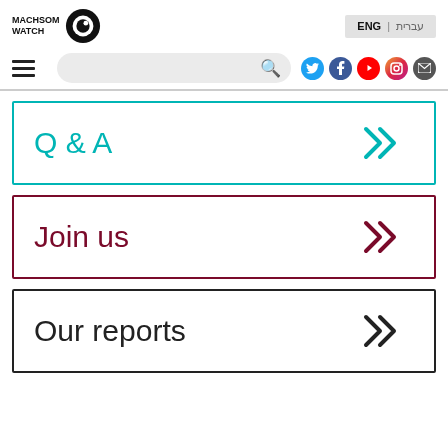MACHSOM WATCH
ENG | עברית
[Figure (screenshot): Navigation bar with hamburger menu, search box, and social media icons (Twitter, Facebook, YouTube, Instagram, Email)]
Q & A
Join us
Our reports